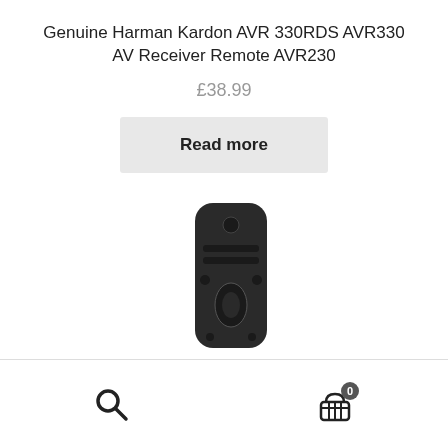Genuine Harman Kardon AVR 330RDS AVR330 AV Receiver Remote AVR230
£38.99
Read more
[Figure (photo): A black Harman Kardon AV receiver remote control, partially visible, photographed against a white background.]
Search icon and shopping basket icon with badge showing 0